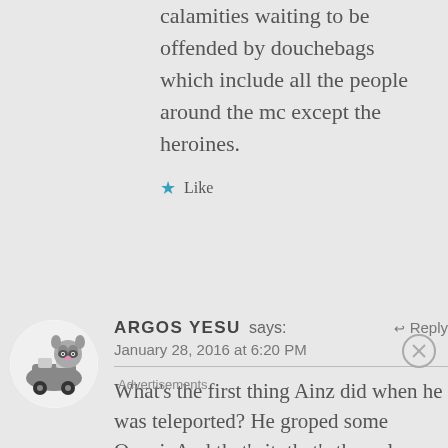calamities waiting to be offended by douchebags which include all the people around the mc except the heroines.
Like
ARGOS YESU says:
January 28, 2016 at 6:20 PM
What’s the first thing Ainz did when he was teleported? He groped some Oppai. And that’s it, that’s the only
Advertisements